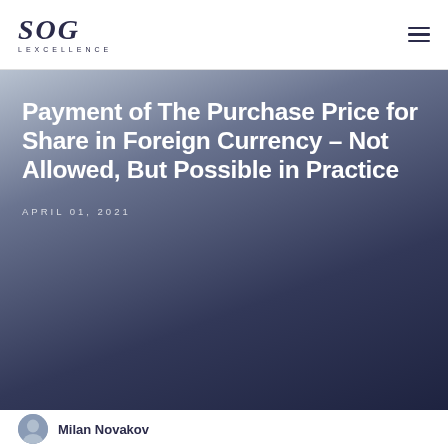SOG LEXCELLENCE
Payment of The Purchase Price for Share in Foreign Currency – Not Allowed, But Possible in Practice
APRIL 01, 2021
Milan Novakov